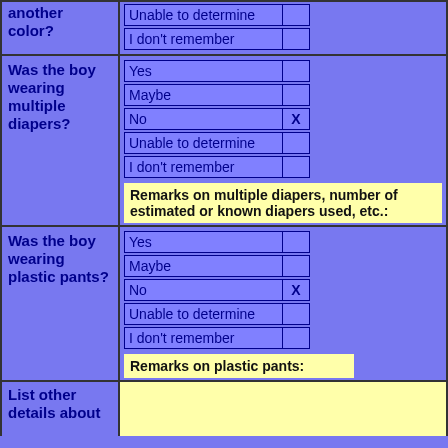| another color? | Unable to determine |  |
|  | I don't remember |  |
| Was the boy wearing multiple diapers? | Yes |  |
|  | Maybe |  |
|  | No | X |
|  | Unable to determine |  |
|  | I don't remember |  |
Remarks on multiple diapers, number of estimated or known diapers used, etc.:
| Was the boy wearing plastic pants? | Yes |  |
|  | Maybe |  |
|  | No | X |
|  | Unable to determine |  |
|  | I don't remember |  |
Remarks on plastic pants:
List other details about